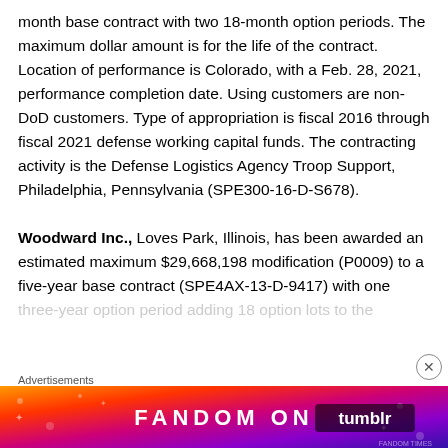month base contract with two 18-month option periods. The maximum dollar amount is for the life of the contract. Location of performance is Colorado, with a Feb. 28, 2021, performance completion date. Using customers are non-DoD customers. Type of appropriation is fiscal 2016 through fiscal 2021 defense working capital funds. The contracting activity is the Defense Logistics Agency Troop Support, Philadelphia, Pennsylvania (SPE300-16-D-S678).
Woodward Inc., Loves Park, Illinois, has been awarded an estimated maximum $29,668,198 modification (P0009) to a five-year base contract (SPE4AX-13-D-9417) with one three-year option period adding 18 option lots to the...
Advertisements
[Figure (other): Fandom on Tumblr advertisement banner with colorful gradient background showing orange, red, pink and purple colors with white bold text reading FANDOM ON tumblr]